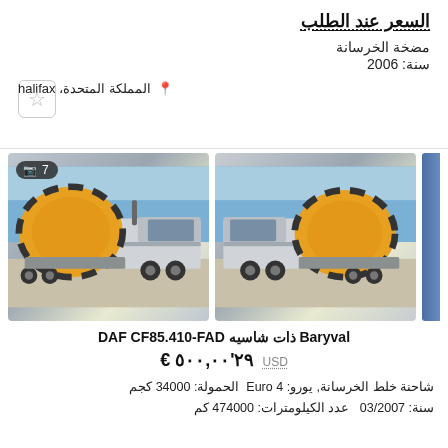السعر عند الطلب
مضخة الخرسانة
سنة: 2006
📍 المملكة المتحدة، halifax
[Figure (photo): Two cement mixer trucks (DAF CF85.410-FAD with Baryval body) photographed outdoors, white cab with yellow/black striped rotating drum]
Baryval ذات شاسيه DAF CF85.410-FAD
€ ٢٩'٥٠٠,٠٠  USD
شاحنة خلط الخرسانة, يورو: Euro 4  الحمولة: 34000 كجم  سنة: 03/2007  عدد الكيلومترات: 474000 كم